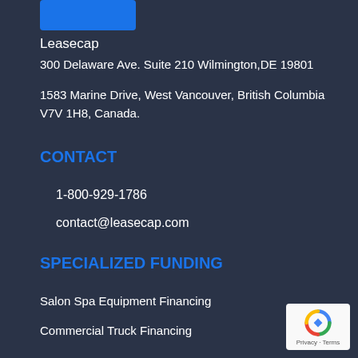[Figure (logo): Leasecap logo - blue rectangle/tab shape]
Leasecap
300 Delaware Ave. Suite 210 Wilmington,DE 19801
1583 Marine Drive, West Vancouver, British Columbia V7V 1H8, Canada.
CONTACT
1-800-929-1786
contact@leasecap.com
SPECIALIZED FUNDING
Salon Spa Equipment Financing
Commercial Truck Financing
[Figure (logo): reCAPTCHA badge with Privacy and Terms links]